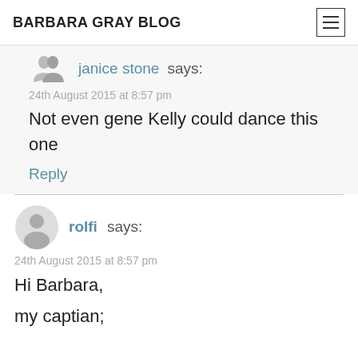BARBARA GRAY BLOG
janice stone says:
24th August 2015 at 8:57 pm
Not even gene Kelly could dance this one
Reply
rolfi says:
24th August 2015 at 8:57 pm
Hi Barbara,
my captian;